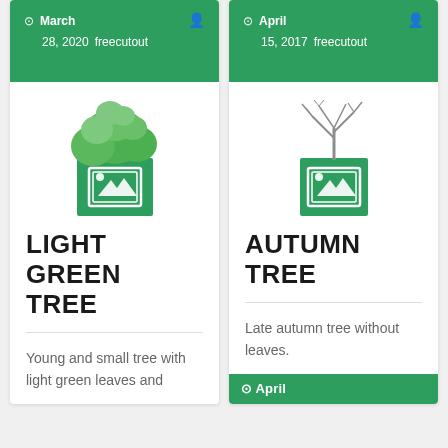March 28, 2020 freecutout
[Figure (illustration): Light green tree plant illustration with green image placeholder box below]
LIGHT GREEN TREE
Young and small tree with light green leaves and
April 15, 2017 freecutout
[Figure (illustration): Autumn bare tree illustration with green image placeholder box below]
AUTUMN TREE
Late autumn tree without leaves.
April